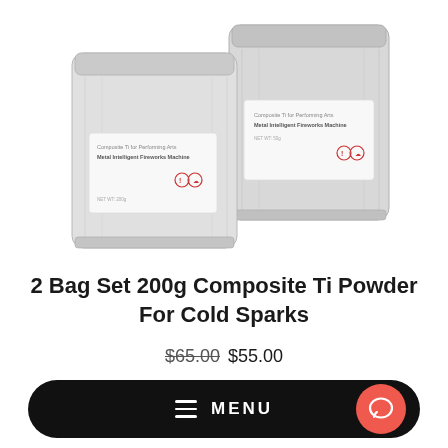[Figure (photo): Two silver metallic foil bags of Composite Ti Powder For Cold Sparks, each with a white label, arranged side by side with the left bag slightly in front and lower.]
2 Bag Set 200g Composite Ti Powder For Cold Sparks
$65.00  $55.00
MENU